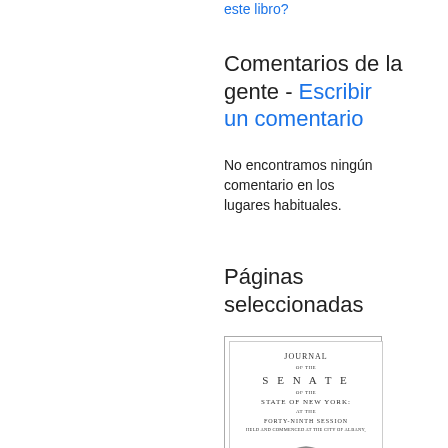este libro?
Comentarios de la gente - Escribir un comentario
No encontramos ningún comentario en los lugares habituales.
Páginas seleccionadas
[Figure (illustration): Thumbnail image of a book title page: 'Journal of the Senate of the State of New York' with a decorative seal/emblem at the bottom]